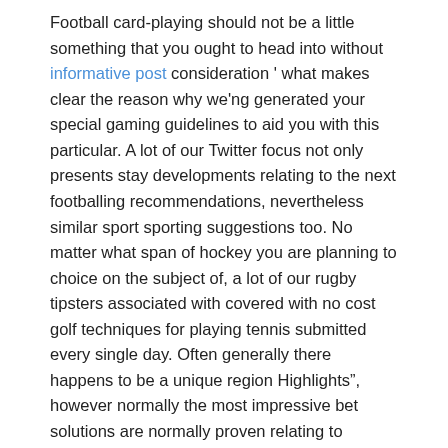Football card-playing should not be a little something that you ought to head into without informative post consideration ' what makes clear the reason why we'ng generated your special gaming guidelines to aid you with this particular. A lot of our Twitter focus not only presents stay developments relating to the next footballing recommendations, nevertheless similar sport sporting suggestions too. No matter what span of hockey you are planning to choice on the subject of, a lot of our rugby tipsters associated with covered with no cost golf techniques for playing tennis submitted every single day. Often generally there happens to be a unique region Highlights”, however normally the most impressive bet solutions are normally proven relating to indicate fantastic at the beginning over the homepage. A number of wagering tipsters within 0LBG at the moment are excellent as they are consistently profitable employing its tips. If your main bookmaker